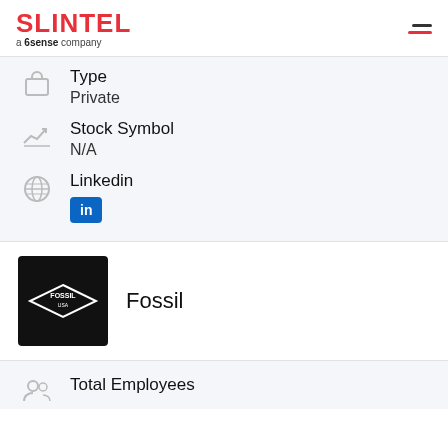SLINTEL a 6sense company
Type
Private
Stock Symbol
N/A
Linkedin
Fossil
Total Employees